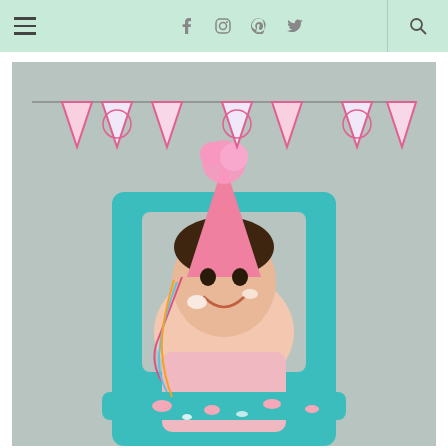Navigation bar with hamburger menu, social icons (Facebook, Instagram, Pinterest, Twitter), and search icon
[Figure (photo): A young toddler girl wearing a pink party hat with a fluffy pink pom-pom on top, sitting in a teal/turquoise high chair. She is smiling with cake/frosting on her face. Behind her is a gray wall with a pink and white birthday banner made of pennant flags. The high chair tray has pink cake crumbles scattered on it. The child wears a light pink t-shirt.]